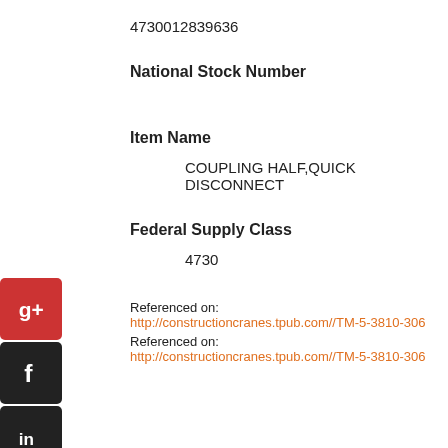4730012839636
National Stock Number
Item Name
COUPLING HALF,QUICK DISCONNECT
Federal Supply Class
4730
Referenced on: http://constructioncranes.tpub.com//TM-5-3810-306
Referenced on: http://constructioncranes.tpub.com//TM-5-3810-306